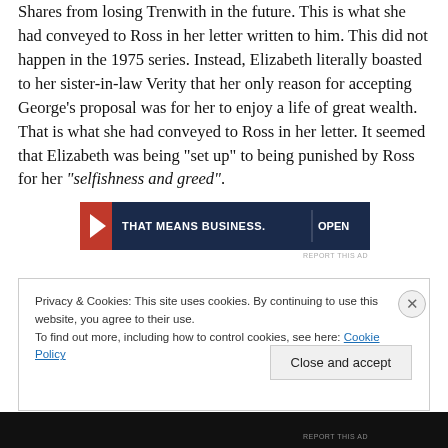Shares from losing Trenwith in the future. This is what she had conveyed to Ross in her letter written to him. This did not happen in the 1975 series. Instead, Elizabeth literally boasted to her sister-in-law Verity that her only reason for accepting George’s proposal was for her to enjoy a life of great wealth. That is what she had conveyed to Ross in her letter. It seemed that Elizabeth was being “set up” to being punished by Ross for her “selfishness and greed”.
[Figure (other): Advertisement banner with dark navy background reading 'THAT MEANS BUSINESS.' with a flag icon on the left and 'OPEN' text on the right.]
Privacy & Cookies: This site uses cookies. By continuing to use this website, you agree to their use.
To find out more, including how to control cookies, see here: Cookie Policy